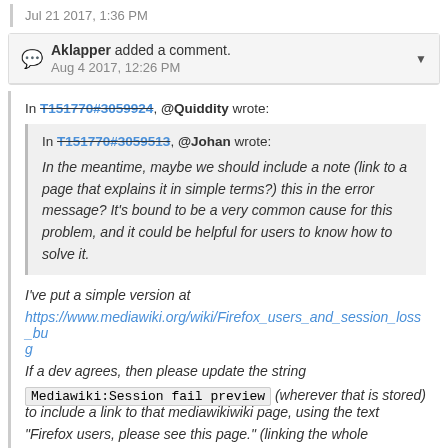Jul 21 2017, 1:36 PM
Aklapper added a comment.
Aug 4 2017, 12:26 PM
In T151770#3059924, @Quiddity wrote:
In T151770#3059513, @Johan wrote:
In the meantime, maybe we should include a note (link to a page that explains it in simple terms?) this in the error message? It's bound to be a very common cause for this problem, and it could be helpful for users to know how to solve it.
I've put a simple version at https://www.mediawiki.org/wiki/Firefox_users_and_session_loss_bug
If a dev agrees, then please update the string Mediawiki:Session fail preview (wherever that is stored) to include a link to that mediawikiwiki page, using the text "Firefox users, please see this page." (linking the whole sentence). Or